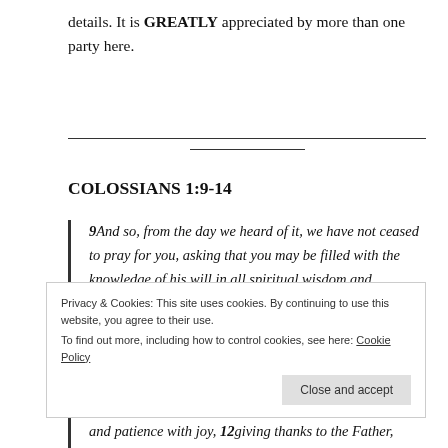details. It is GREATLY appreciated by more than one party here.
COLOSSIANS 1:9-14
9And so, from the day we heard of it, we have not ceased to pray for you, asking that you may be filled with the knowledge of his will in all spiritual wisdom and understanding, 10to lead a life worthy of the
Privacy & Cookies: This site uses cookies. By continuing to use this website, you agree to their use.
To find out more, including how to control cookies, see here: Cookie Policy
and patience with joy, 12giving thanks to the Father,